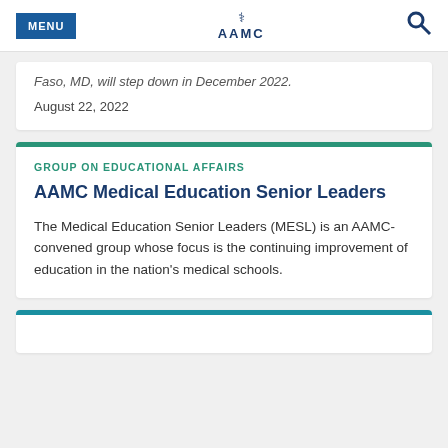MENU | AAMC
Faso, MD, will step down in December 2022.
August 22, 2022
GROUP ON EDUCATIONAL AFFAIRS
AAMC Medical Education Senior Leaders
The Medical Education Senior Leaders (MESL) is an AAMC-convened group whose focus is the continuing improvement of education in the nation's medical schools.